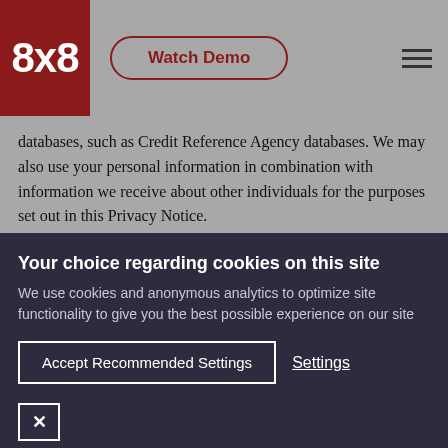8x8 | Watch Demo
databases, such as Credit Reference Agency databases. We may also use your personal information in combination with information we receive about other individuals for the purposes set out in this Privacy Notice.
Your choice regarding cookies on this site
We use cookies and anonymous analytics to optimize site functionality to give you the best possible experience on our site
Accept Recommended Settings
Settings